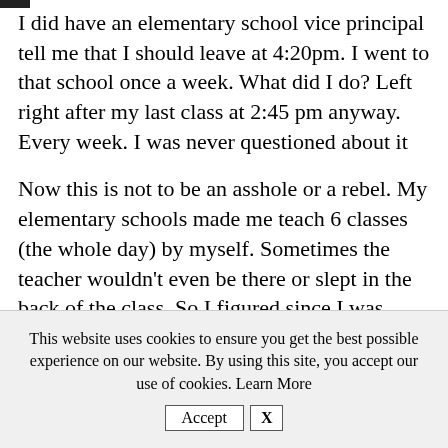I did have an elementary school vice principal tell me that I should leave at 4:20pm.  I went to that school once a week.  What did I do?  Left right after my last class at 2:45 pm anyway.  Every week.  I was never questioned about it
Now this is not to be an asshole or a rebel.  My elementary schools made me teach 6 classes (the whole day) by myself.  Sometimes the teacher wouldn't even be there or slept in the back of the class.  So I figured since I was doing everything, I should be able to leave early.  All of the other
This website uses cookies to ensure you get the best possible experience on our website. By using this site, you accept our use of cookies. Learn More